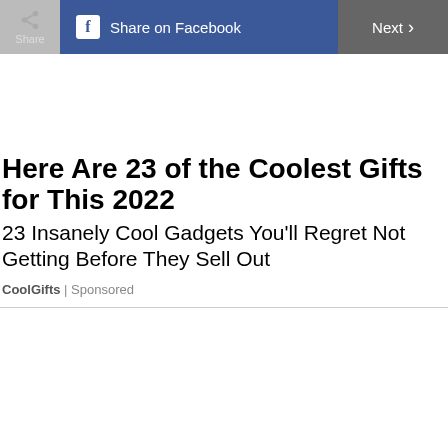Share | Share on Facebook | Next
Here Are 23 of the Coolest Gifts for This 2022
23 Insanely Cool Gadgets You'll Regret Not Getting Before They Sell Out
CoolGifts | Sponsored